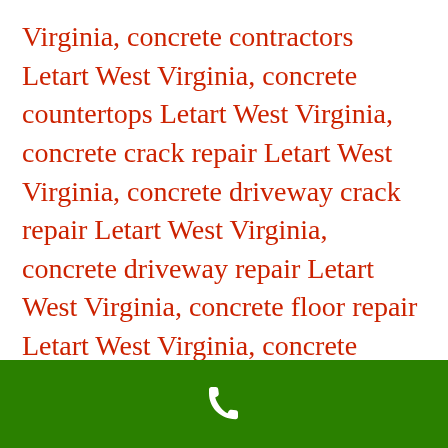Virginia, concrete contractors Letart West Virginia, concrete countertops Letart West Virginia, concrete crack repair Letart West Virginia, concrete driveway crack repair Letart West Virginia, concrete driveway repair Letart West Virginia, concrete floor repair Letart West Virginia, concrete foundation repair Letart West Virginia, concrete mixer Letart West Virginia, concrete operational stage Letart West Virginia, concrete paint Letart West Virginia, concrete pavers Letart West Virginia, concrete poem Letart West Virginia, concrete repair contractorLetart West Virginia, concrete repair
[Figure (other): Green footer bar with white telephone handset icon]